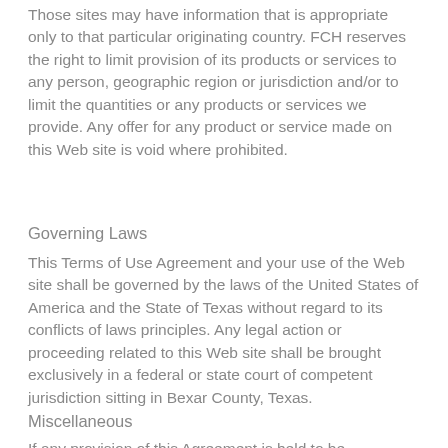Those sites may have information that is appropriate only to that particular originating country. FCH reserves the right to limit provision of its products or services to any person, geographic region or jurisdiction and/or to limit the quantities or any products or services we provide. Any offer for any product or service made on this Web site is void where prohibited.
Governing Laws
This Terms of Use Agreement and your use of the Web site shall be governed by the laws of the United States of America and the State of Texas without regard to its conflicts of laws principles. Any legal action or proceeding related to this Web site shall be brought exclusively in a federal or state court of competent jurisdiction sitting in Bexar County, Texas.
Miscellaneous
If any provision of this Agreement is held to be